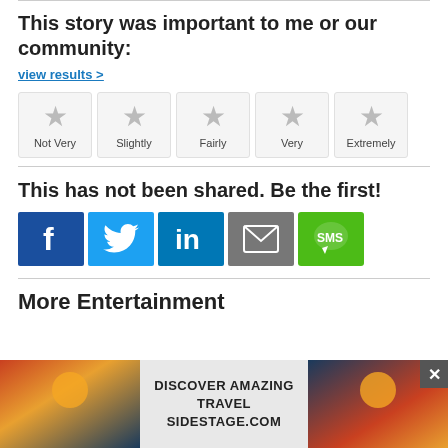This story was important to me or our community:
view results >
[Figure (infographic): Five star rating boxes labeled Not Very, Slightly, Fairly, Very, Extremely — each with a grey star icon]
This has not been shared. Be the first!
[Figure (infographic): Social share buttons: Facebook (blue), Twitter (light blue), LinkedIn (dark blue), Email (grey), SMS (green)]
More Entertainment
[Figure (infographic): Advertisement banner: DISCOVER AMAZING TRAVEL SIDESTAGE.COM with sunset travel images]